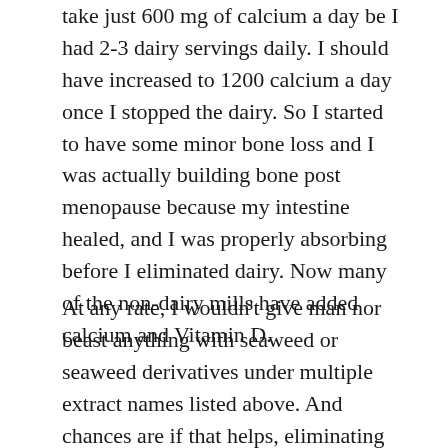take just 600 mg of calcium a day be I had 2-3 dairy servings daily. I should have increased to 1200 calcium a day once I stopped the dairy. So I started to have some minor bone loss and I was actually building bone post menopause because my intestine healed, and I was properly absorbing before I eliminated dairy. Now many of the non-dairy mills have added calcium and Vitamin D.
At any rate, I wouldn't give man nor beast anything with seaweed or seaweed derivatives under multiple extract names listed above. And chances are if that helps, eliminating gluten and possibly dairy and soy will also help.